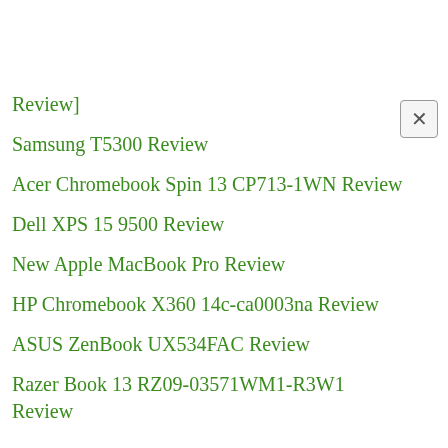Review]
Samsung T5300 Review
Acer Chromebook Spin 13 CP713-1WN Review
Dell XPS 15 9500 Review
New Apple MacBook Pro Review
HP Chromebook X360 14c-ca0003na Review
ASUS ZenBook UX534FAC Review
Razer Book 13 RZ09-03571WM1-R3W1 Review